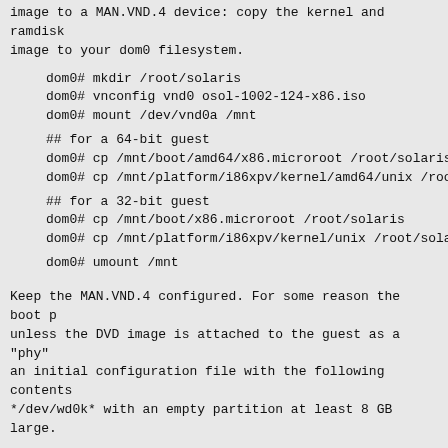image to a MAN.VND.4 device: copy the kernel and ramdisk image to your dom0 filesystem.
dom0# mkdir /root/solaris
dom0# vnconfig vnd0 osol-1002-124-x86.iso
dom0# mount /dev/vnd0a /mnt
## for a 64-bit guest
dom0# cp /mnt/boot/amd64/x86.microroot /root/solaris
dom0# cp /mnt/platform/i86xpv/kernel/amd64/unix /root
## for a 32-bit guest
dom0# cp /mnt/boot/x86.microroot /root/solaris
dom0# cp /mnt/platform/i86xpv/kernel/unix /root/solar
dom0# umount /mnt
Keep the MAN.VND.4 configured. For some reason the boot p unless the DVD image is attached to the guest as a "phy" an initial configuration file with the following contents */dev/wd0k* with an empty partition at least 8 GB large.
memory = 640
name = 'solaris'
disk = [ 'phy:/dev/wd0k,0,w' ]
disk += [ 'phy:/dev/vnd0d,6:cdrom,r' ]
vif = [ 'bridge=bridge0' ]
kernel = '/root/solaris/unix'
ramdisk = '/root/solaris/x86.microroot'
# for a 64-bit guest